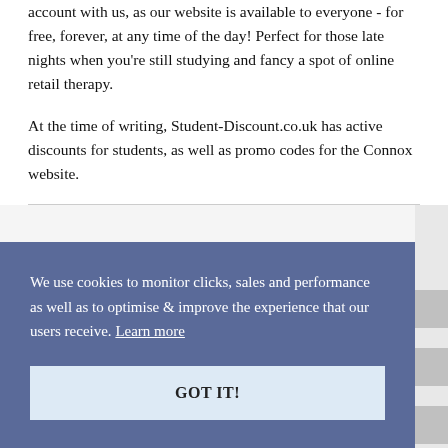account with us, as our website is available to everyone - for free, forever, at any time of the day! Perfect for those late nights when you're still studying and fancy a spot of online retail therapy.
At the time of writing, Student-Discount.co.uk has active discounts for students, as well as promo codes for the Connox website.
We use cookies to monitor clicks, sales and performance as well as to optimise & improve the experience that our users receive. Learn more
GOT IT!